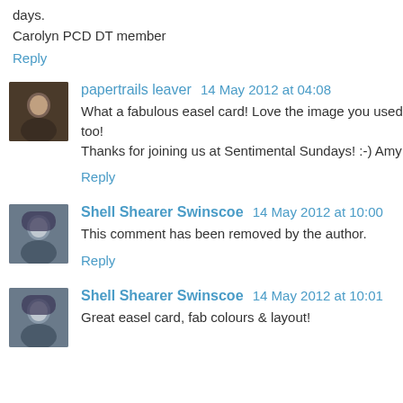days.
Carolyn PCD DT member
Reply
papertrails leaver  14 May 2012 at 04:08
What a fabulous easel card! Love the image you used too! Thanks for joining us at Sentimental Sundays! :-) Amy
Reply
Shell Shearer Swinscoe  14 May 2012 at 10:00
This comment has been removed by the author.
Reply
Shell Shearer Swinscoe  14 May 2012 at 10:01
Great easel card, fab colours & layout!